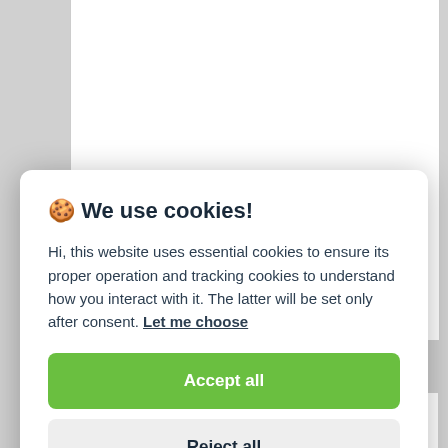[Figure (screenshot): White article background area with grey page background visible on sides]
🍪 We use cookies!
Hi, this website uses essential cookies to ensure its proper operation and tracking cookies to understand how you interact with it. The latter will be set only after consent. Let me choose
Accept all
Reject all
New Federal Incentives Jump Start Domestic